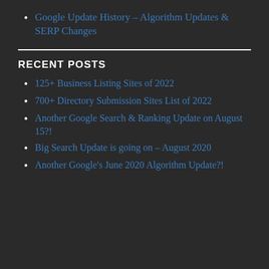Google Update History – Algorithm Updates & SERP Changes
RECENT POSTS
125+ Business Listing Sites of 2022
700+ Directory Submission Sites List of 2022
Another Google Search & Ranking Update on August 15?!
Big Search Update is going on – August 2020
Another Google's June 2020 Algorithm Update?!